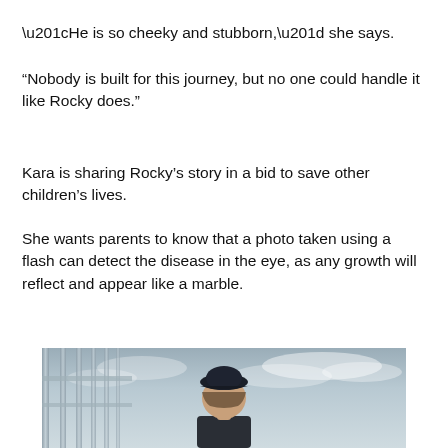“He is so cheeky and stubborn,” she says.
“Nobody is built for this journey, but no one could handle it like Rocky does.”
Kara is sharing Rocky’s story in a bid to save other children’s lives.
She wants parents to know that a photo taken using a flash can detect the disease in the eye, as any growth will reflect and appear like a marble.
[Figure (photo): A child wearing a dark baseball cap standing outdoors with a railing/fence and cloudy sky in the background. Only the top portion of the child is visible at the bottom of the image.]